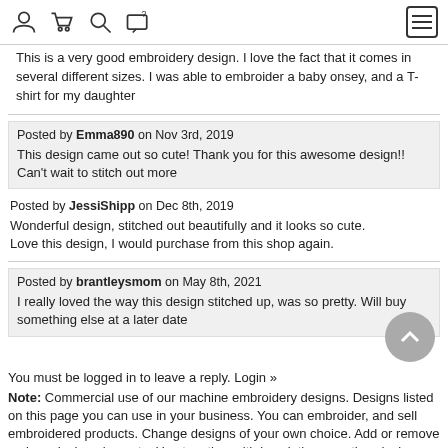Navigation icons: user, cart, search, help/chat, hamburger menu
This is a very good embroidery design. I love the fact that it comes in several different sizes. I was able to embroider a baby onsey, and a T-shirt for my daughter
Posted by Emma890 on Nov 3rd, 2019
This design came out so cute! Thank you for this awesome design!! Can't wait to stitch out more
Posted by JessiShipp on Dec 8th, 2019
Wonderful design, stitched out beautifully and it looks so cute.
Love this design, I would purchase from this shop again.
Posted by brantleysmom on May 8th, 2021
I really loved the way this design stitched up, was so pretty. Will buy something else at a later date
You must be logged in to leave a reply. Login »
Note: Commercial use of our machine embroidery designs. Designs listed on this page you can use in your business. You can embroider, and sell embroidered products. Change designs of your own choice. Add or remove various design elements. Use together with inscriptions or other designs.